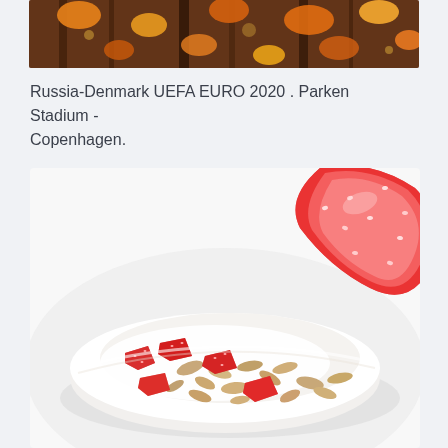[Figure (photo): Partial top image showing autumn leaves and tree bark in warm orange and brown tones]
Russia-Denmark UEFA EURO 2020 . Parken Stadium - Copenhagen.
[Figure (photo): Close-up photograph of a white bowl containing muesli/granola with chopped strawberries and a halved fresh strawberry on top, on a white background]